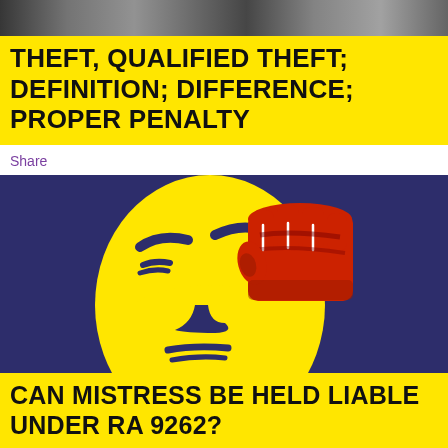[Figure (photo): Top strip photo of a person, partially visible, dark and muted tones]
THEFT, QUALIFIED THEFT; DEFINITION; DIFFERENCE; PROPER PENALTY
Share
[Figure (illustration): Stylized illustration of a yellow face with dark navy facial features being struck by a large red fist, on a dark navy background]
CAN MISTRESS BE HELD LIABLE UNDER RA 9262?